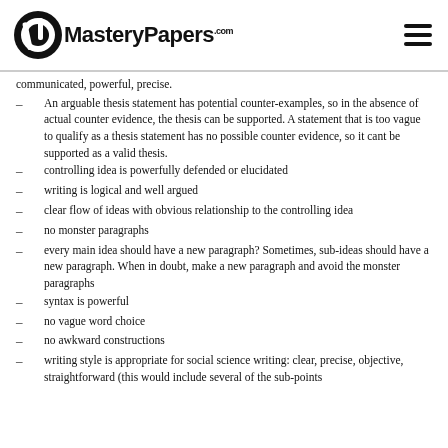MasteryPapers.com
communicated, powerful, precise.
An arguable thesis statement has potential counter-examples, so in the absence of actual counter evidence, the thesis can be supported.  A statement that is too vague to qualify as a thesis statement has no possible counter evidence, so it cant be supported as a valid thesis.
controlling idea is powerfully defended or elucidated
writing is logical and well argued
clear flow of ideas with obvious relationship to the controlling idea
no monster paragraphs
every main idea should have a new paragraph? Sometimes, sub-ideas should have a new paragraph.  When in doubt, make a new paragraph and avoid the monster paragraphs
syntax is powerful
no vague word choice
no awkward constructions
writing style is appropriate for social science writing: clear, precise, objective, straightforward  (this would include several of the sub-points